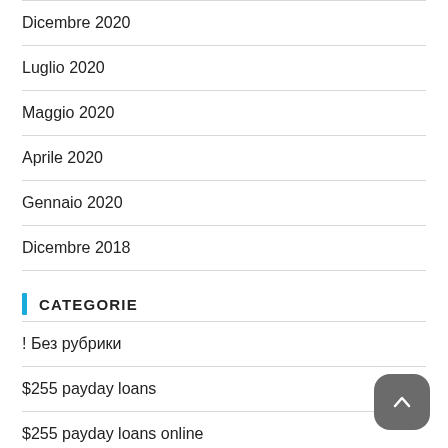Dicembre 2020
Luglio 2020
Maggio 2020
Aprile 2020
Gennaio 2020
Dicembre 2018
CATEGORIE
! Без рубрики
$255 payday loans
$255 payday loans online
1 hour payday loans
1 hour payday loans no credit check